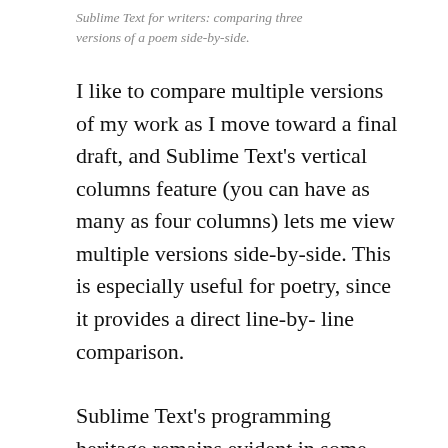Sublime Text for writers: comparing three versions of a poem side-by-side.
I like to compare multiple versions of my work as I move toward a final draft, and Sublime Text's vertical columns feature (you can have as many as four columns) lets me view multiple versions side-by-side. This is especially useful for poetry, since it provides a direct line-by-line comparison.
Sublime Text's programming heritage remains evident in some ways, but writers should not feel unduly intimidated by this. For example, you need to configure preferences via individual files, and you also need to add a few plugins to make Sublime Text a solid